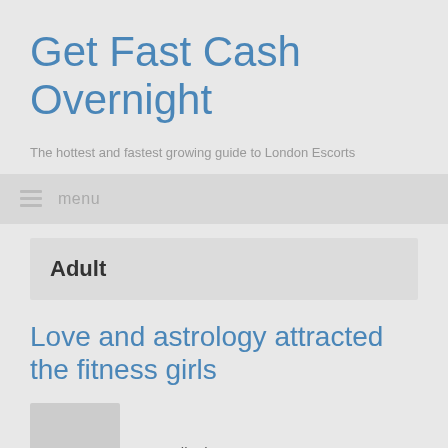Get Fast Cash Overnight
The hottest and fastest growing guide to London Escorts
menu
Adult
Love and astrology attracted the fitness girls
I usually do not